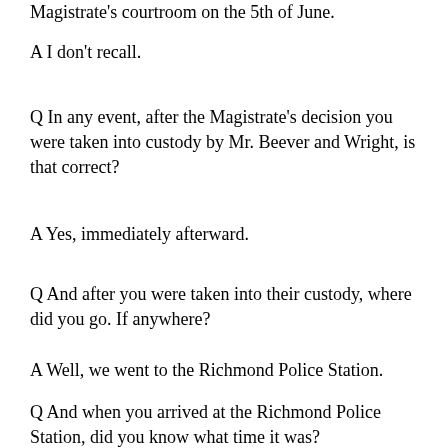Magistrate's courtroom on the 5th of June.
A I don't recall.
Q In any event, after the Magistrate's decision you were taken into custody by Mr. Beever and Wright, is that correct?
A Yes, immediately afterward.
Q And after you were taken into their custody, where did you go. If anywhere?
A Well, we went to the Richmond Police Station.
Q And when you arrived at the Richmond Police Station, did you know what time it was?